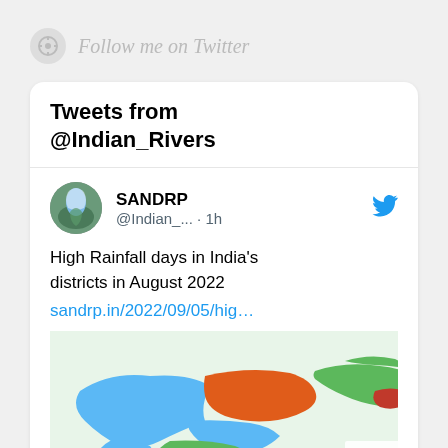Follow me on Twitter
Tweets from @Indian_Rivers
SANDRP @Indian_... · 1h
High Rainfall days in India's districts in August 2022
sandrp.in/2022/09/05/hig…
[Figure (map): Colorful map of India showing high rainfall districts in August 2022, with regions colored in blue, green, orange, and red.]